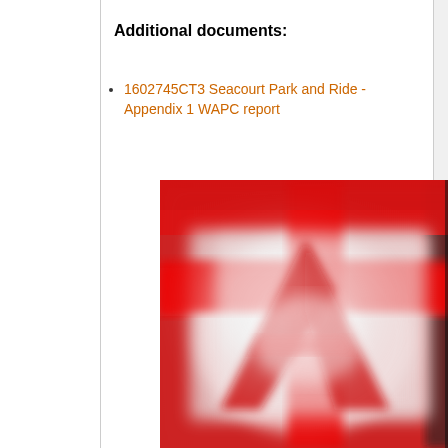Additional documents:
1602745CT3 Seacourt Park and Ride - Appendix 1 WAPC report
[Figure (illustration): Blurred/zoomed Adobe Acrobat PDF file icon showing the red and white Acrobat logo with a stylized 'A' shape]